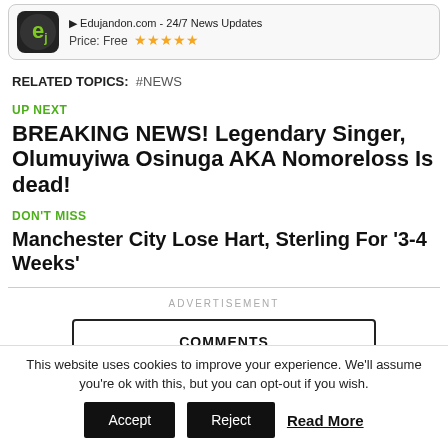[Figure (screenshot): App banner showing Edujandon.com 24/7 News Updates app icon with Price: Free and 5-star rating]
RELATED TOPICS: #NEWS
UP NEXT
BREAKING NEWS! Legendary Singer, Olumuyiwa Osinuga AKA Nomoreloss Is dead!
DON'T MISS
Manchester City Lose Hart, Sterling For '3-4 Weeks'
ADVERTISEMENT
COMMENTS
This website uses cookies to improve your experience. We'll assume you're ok with this, but you can opt-out if you wish.